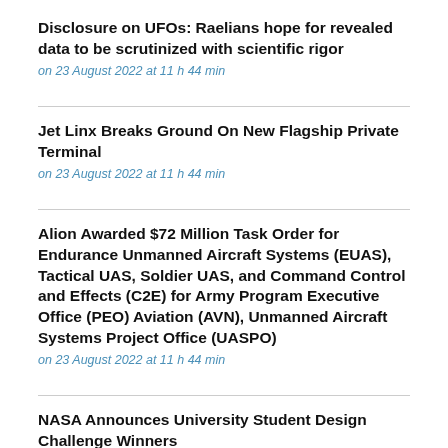Disclosure on UFOs: Raelians hope for revealed data to be scrutinized with scientific rigor
on 23 August 2022 at 11 h 44 min
Jet Linx Breaks Ground On New Flagship Private Terminal
on 23 August 2022 at 11 h 44 min
Alion Awarded $72 Million Task Order for Endurance Unmanned Aircraft Systems (EUAS), Tactical UAS, Soldier UAS, and Command Control and Effects (C2E) for Army Program Executive Office (PEO) Aviation (AVN), Unmanned Aircraft Systems Project Office (UASPO)
on 23 August 2022 at 11 h 44 min
NASA Announces University Student Design Challenge Winners
on 23 August 2022 at 11 h 44 min